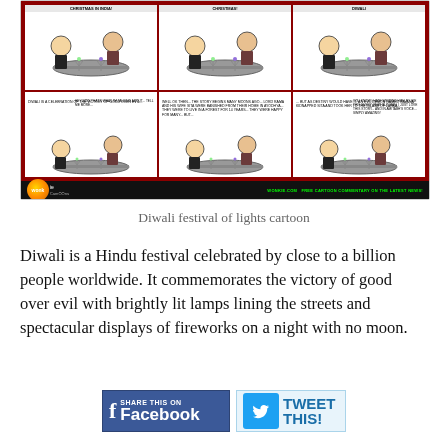[Figure (illustration): Wonkie cartoon strip showing Diwali festival scenes with cartoon characters seated at tables. Six panels arranged in a 3x2 grid with dark red border. Bottom bar shows Wonkie logo and tagline 'WONKIE.COM FREE CARTOON COMMENTARY ON THE LATEST NEWS!']
Diwali festival of lights cartoon
Diwali is a Hindu festival celebrated by close to a billion people worldwide. It commemorates the victory of good over evil with brightly lit lamps lining the streets and spectacular displays of fireworks on a night with no moon.
[Figure (other): Share This On Facebook button (blue Facebook-branded button)]
[Figure (other): Tweet This! button (Twitter-branded button)]